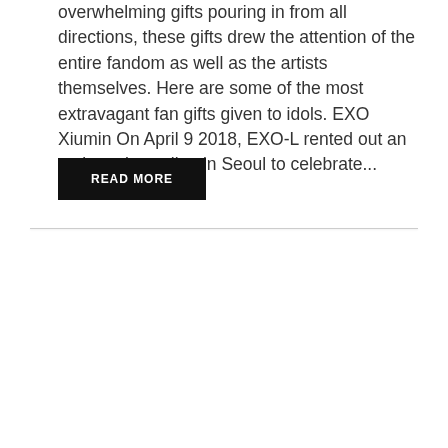overwhelming gifts pouring in from all directions, these gifts drew the attention of the entire fandom as well as the artists themselves. Here are some of the most extravagant fan gifts given to idols. EXO Xiumin On April 9 2018, EXO-L rented out an entire subway line in Seoul to celebrate...
READ MORE